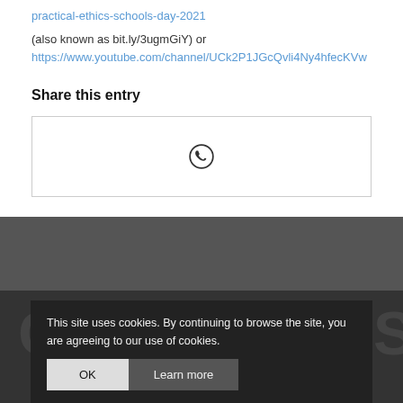practical-ethics-schools-day-2021
(also known as bit.ly/3ugmGiY) or https://www.youtube.com/channel/UCk2P1JGcQvli4Ny4hfecKVw
Share this entry
[Figure (other): WhatsApp share button icon inside a bordered box]
This site uses cookies. By continuing to browse the site, you are agreeing to our use of cookies.
OK  Learn more
General Email: @ean.co.uk  IT Help: help@[...].uk